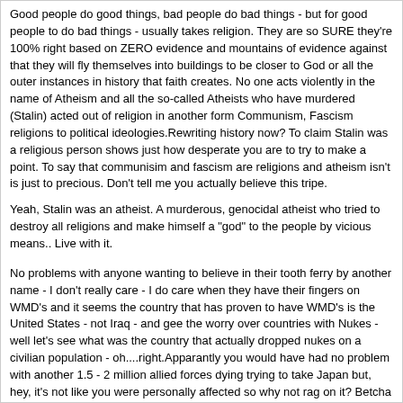Good people do good things, bad people do bad things - but for good people to do bad things - usually takes religion. They are so SURE they're 100% right based on ZERO evidence and mountains of evidence against that they will fly themselves into buildings to be closer to God or all the outer instances in history that faith creates. No one acts violently in the name of Atheism and all the so-called Atheists who have murdered (Stalin) acted out of religion in another form Communism, Fascism religions to political ideologies.Rewriting history now? To claim Stalin was a religious person shows just how desperate you are to try to make a point. To say that communisim and fascism are religions and atheism isn't is just to precious. Don't tell me you actually believe this tripe.
Yeah, Stalin was an atheist. A murderous, genocidal atheist who tried to destroy all religions and make himself a "god" to the people by vicious means.. Live with it.
No problems with anyone wanting to believe in their tooth ferry by another name - I don't really care - I do care when they have their fingers on WMD's and it seems the country that has proven to have WMD's is the United States - not Iraq - and gee the worry over countries with Nukes - well let's see what was the country that actually dropped nukes on a civilian population - oh....right.Apparantly you would have had no problem with another 1.5 - 2 million allied forces dying trying to take Japan but, hey, it's not like you were personally affected so why not rag on it? Betcha if you were there you might think differenty. Or, better yet, I'll bet if your father was in the pacific theater at that time he might want to clarify a few things for you. Besides, what religion did this? Unlike the 9/11 bombers, I believe our armed forces were made up of people of all religions fightiing for several countries (including yours), not a religion, or did you miss that?
Or, was that another veiled dig at Americia, the country, which you'll later try to deny if confronted?
The fact that you teach children is frightening but considering you're teaching in the largest manufacturer of counterfeit goods, a country that has no respect for intellectual property, relies on child labor, is a brazen polluter, and plays unfairly in the international monetary market does not surprise me. From your pride in